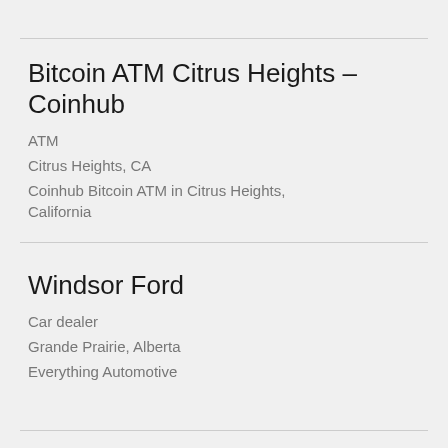Bitcoin ATM Citrus Heights – Coinhub
ATM
Citrus Heights, CA
Coinhub Bitcoin ATM in Citrus Heights, California
Windsor Ford
Car dealer
Grande Prairie, Alberta
Everything Automotive